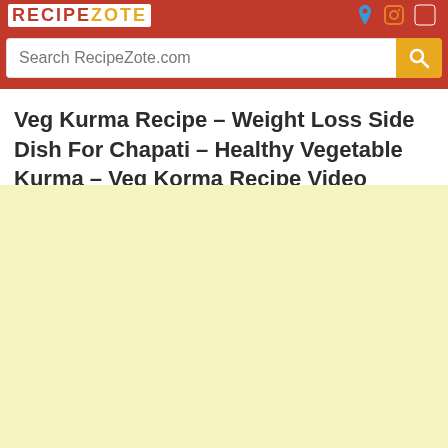RECIPEZOTE
Search RecipeZote.com
Veg Kurma Recipe – Weight Loss Side Dish For Chapati – Healthy Vegetable Kurma – Veg Korma Recipe Video Download MP4
[Figure (other): Light yellow blank content area below the title]